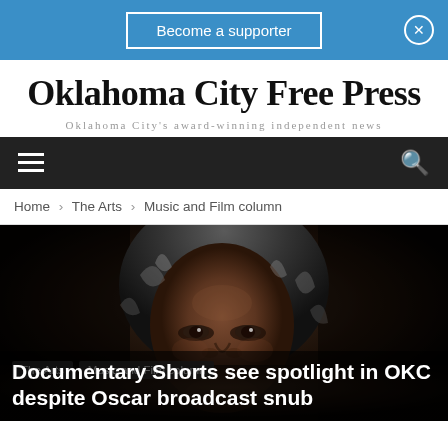Become a supporter
Oklahoma City Free Press
Oklahoma City's award-winning independent news
Home › The Arts › Music and Film column
[Figure (photo): Close-up portrait of a middle-aged Black woman with curly gray-streaked hair against a dark background]
The Arts   Music and Film column
Documentary Shorts see spotlight in OKC despite Oscar broadcast snub